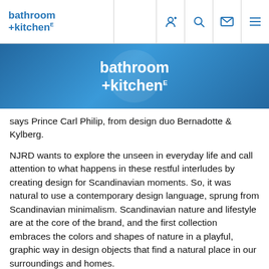bathroom+kitchen
[Figure (logo): bathroom+kitchen logo banner with blue gradient background and white text]
says Prince Carl Philip, from design duo Bernadotte & Kylberg.
NJRD wants to explore the unseen in everyday life and call attention to what happens in these restful interludes by creating design for Scandinavian moments. So, it was natural to use a contemporary design language, sprung from Scandinavian minimalism. Scandinavian nature and lifestyle are at the core of the brand, and the first collection embraces the colors and shapes of nature in a playful, graphic way in design objects that find a natural place in our surroundings and homes.
For Bernadotte & Kylberg, a large part of the joy of creating